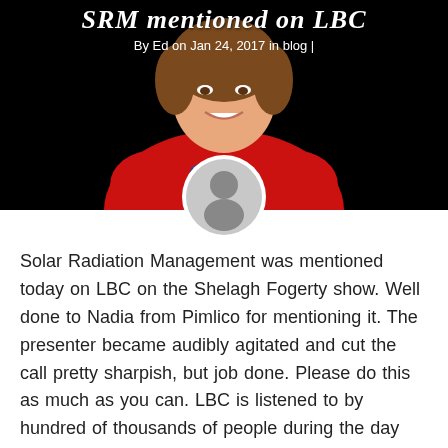SRM mentioned on LBC
By Ed on Jan 24, 2017 in blog |
[Figure (photo): Photo of a woman in a red top against a black background, with a circular avatar/profile icon overlaid at the bottom center]
Solar Radiation Management was mentioned today on LBC on the Shelagh Fogerty show. Well done to Nadia from Pimlico for mentioning it. The presenter became audibly agitated and cut the call pretty sharpish, but job done. Please do this as much as you can. LBC is listened to by hundred of thousands of people during the day and is a great way to get the word out there. On that note, we have tried repeatedly to get on and speak